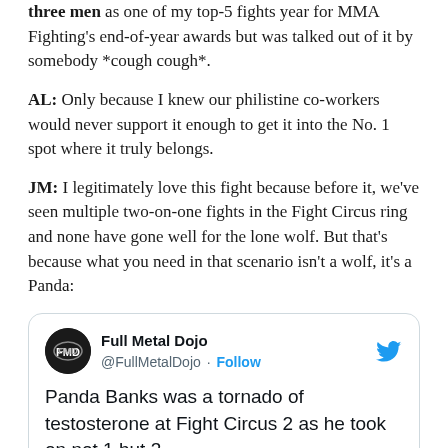three men as one of my top-5 fights year for MMA Fighting's end-of-year awards but was talked out of it by somebody *cough cough*.
AL: Only because I knew our philistine co-workers would never support it enough to get it into the No. 1 spot where it truly belongs.
JM: I legitimately love this fight because before it, we've seen multiple two-on-one fights in the Fight Circus ring and none have gone well for the lone wolf. But that's because what you need in that scenario isn't a wolf, it's a Panda:
[Figure (screenshot): Embedded tweet from @FullMetalDojo with Twitter bird icon, avatar, Follow link, and tweet text: 'Panda Banks was a tornado of testosterone at Fight Circus 2 as he took on not 1 but 3']